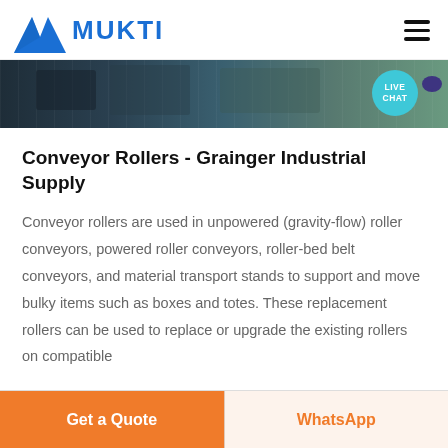[Figure (logo): Mukti company logo with blue triangle/mountain icon and bold blue MUKTI text]
[Figure (photo): Industrial conveyor or manufacturing facility banner image in dark tones with a teal Live Chat bubble overlay in bottom right]
Conveyor Rollers - Grainger Industrial Supply
Conveyor rollers are used in unpowered (gravity-flow) roller conveyors, powered roller conveyors, roller-bed belt conveyors, and material transport stands to support and move bulky items such as boxes and totes. These replacement rollers can be used to replace or upgrade the existing rollers on compatible
Get a Quote
WhatsApp